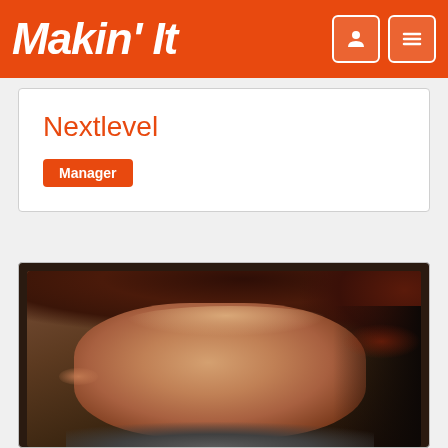Makin' It
Nextlevel
Manager
[Figure (photo): Close-up selfie photo of a person with reddish-brown curly hair, taken from inside a car. The person is looking directly at the camera with a neutral expression, wearing a grey jacket. The background shows a car interior.]